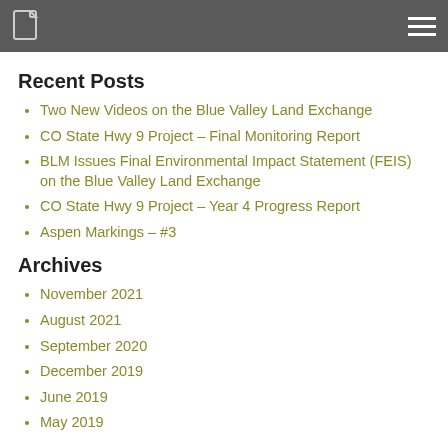Recent Posts
Two New Videos on the Blue Valley Land Exchange
CO State Hwy 9 Project – Final Monitoring Report
BLM Issues Final Environmental Impact Statement (FEIS) on the Blue Valley Land Exchange
CO State Hwy 9 Project – Year 4 Progress Report
Aspen Markings – #3
Archives
November 2021
August 2021
September 2020
December 2019
June 2019
May 2019